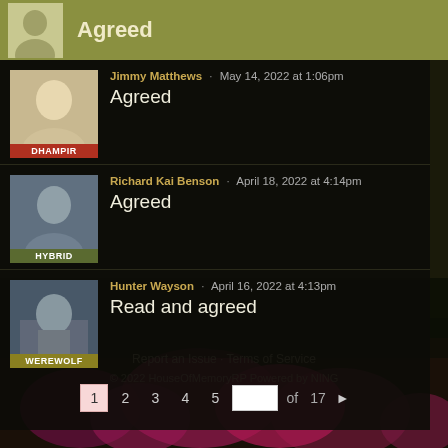Agreed
Jimmy Matthews · May 14, 2022 at 1:06pm
Agreed
Richard Kai Benson · April 18, 2022 at 4:14pm
Agreed
Hunter Wayson · April 16, 2022 at 4:13pm
Read and agreed
1 2 3 4 5 of 17 ▶
Report an Issue · Terms of Service
© 2022 HouseOfMemoryRP Powered by NING